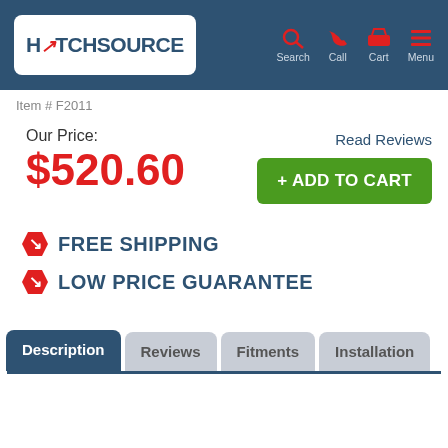[Figure (logo): HitchSource logo in white rounded rectangle on dark blue header bar]
Search  Call  Cart  Menu
Item # F2011
Read Reviews
Our Price:
$520.60
+ ADD TO CART
FREE SHIPPING
LOW PRICE GUARANTEE
Description  Reviews  Fitments  Installation